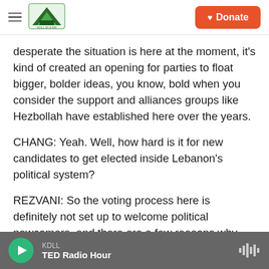KDLL | Donate
desperate the situation is here at the moment, it's kind of created an opening for parties to float bigger, bolder ideas, you know, bold when you consider the support and alliances groups like Hezbollah have established here over the years.
CHANG: Yeah. Well, how hard is it for new candidates to get elected inside Lebanon's political system?
REZVANI: So the voting process here is definitely not set up to welcome political newcomers, and there are a few reasons why. There's the fact that
KDLL
TED Radio Hour